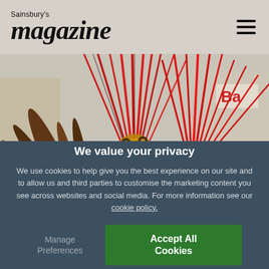Sainsbury's magazine
[Figure (photo): Carnival performers wearing large elaborate red feather headdresses at what appears to be a street carnival, photographed from behind/side angle with urban buildings in background.]
We value your privacy
We use cookies to help give you the best experience on our site and to allow us and third parties to customise the marketing content you see across websites and social media. For more information see our cookie policy.
Manage Preferences
Accept All Cookies